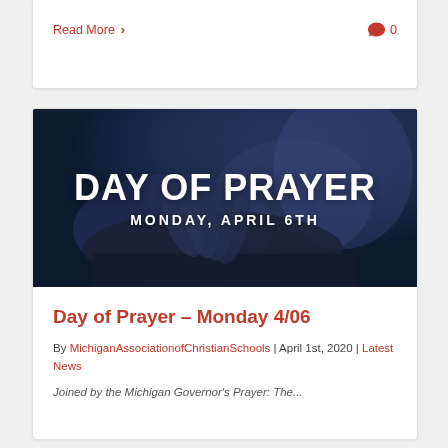Read More >
0
[Figure (photo): Dark banner image showing praying hands clasped over a book, overlaid with bold white text reading 'DAY OF PRAYER' and 'MONDAY, APRIL 6TH']
Day of Prayer – Monday 4/06
By MichiganAssociationofChristianSchools | April 1st, 2020 | Latest News
Joined by the Michigan Governor's Prayer: The...